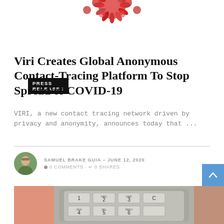[Figure (photo): Coronavirus illustration with red flower-like spikes on white background, partially cropped at top of page]
PRESS RELEASES
Viri Creates Global Anonymous Contact-Tracing Platform To Stop Spread of COVID-19
VIRI, a new contact tracing network driven by privacy and anonymity, announces today that ...
[Figure (photo): Author avatar photo of Samuel Brake Guia, a man outdoors with green background]
SAMUEL BRAKE GUIA – JUNE 12, 2020
0 COMMENTS · 0 SHARES
[Figure (photo): Close-up photo of a pink telephone handset with a grey keypad showing numbered buttons including 1, ABC 2, DEF 3, C, GHI 4, JKL 5, MNO 6 etc.]